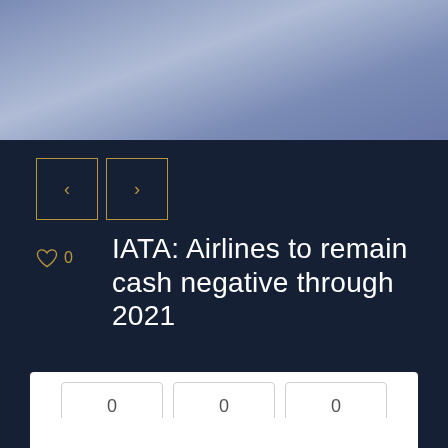[Figure (photo): Blue-grey textured hero image banner at top of page]
[Figure (other): Navigation previous/next arrow buttons in gold border on dark background]
IATA: Airlines to remain cash negative through 2021
[Figure (other): Social sharing widget with count bubbles showing 0, 0, 0 and Share, Tweet, Pin buttons]